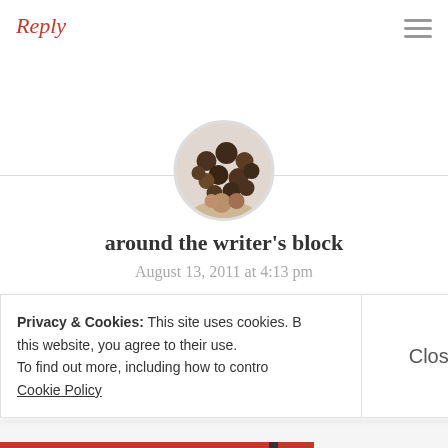Reply
[Figure (photo): Circular avatar image showing dark seeds/spices (black pepper)]
around the writer's block
August 13, 2011 at 4:13 pm
So I suppose the question is–why do the universities have their students use this type of writing? Is there not an inherent value to the skills
Privacy & Cookies: This site uses cookies. By continuing to use this website, you agree to their use. To find out more, including how to control cookies, see here: Cookie Policy
Close and accept